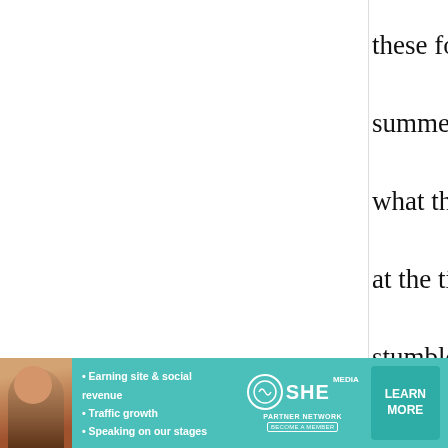these for us in the summer, i forgot to ask what they were called at the time but i've just stumbled upon this recipe after looking through your just bec… as well :]
[Figure (screenshot): Web advertisement banner for SHE Partner Network featuring a woman's photo, bullet points about earning site & social revenue, traffic growth, speaking on stages, the SHE Media logo, and a LEARN MORE button on teal background]